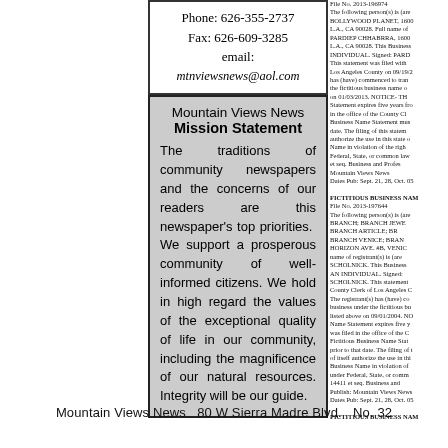Phone: 626-355-2737
Fax: 626-609-3285
email:
mtnviewsnews@aol.com
Mountain Views News Mission Statement
The traditions of community newspapers and the concerns of our readers are this newspaper's top priorities. We support a prosperous community of well-informed citizens. We hold in high regard the values of the exceptional quality of life in our community, including the magnificence of our natural resources. Integrity will be our guide.
File No. 2013-196974
The following person(s) is (are) doing business as:
BOLLYWOOD PLANET, 1600 CAHUENGA BLVD., HOLLYWOOD, L.A., CA 90028. Full name of registrant(s) is (are): PARDIEP CHHABRRA, 1600 CAHUENGA BLVD., HOLLYWOOD, L.A., CA 90028. This Business is conducted by: AN INDIVIDUAL. Signed: PARDIEP CHHABRRA. This statement was filed with the County Clerk of Los Angeles County on 09/19/2013. The registrant(s) has (have) commenced to transact business under the fictitious business name or names listed above on 01/03/2013. NOTICE- This Fictitious Name Statement expires five years from the date it was filed in the office of the County Clerk. A New Fictitious Business Name Statement must be filed before that date. The filing of this statement does not of itself authorize the use in this state of a Fictitious Business Name in violation of the rights of another under Federal, State, or common law (see Section 14411 et seq. Business and Professions Code).
Publish: Mountain Views News
Dates Pub: Sept. 21, 28, Oct. 05, 12, 2013
FICTITIOUS BUSINESS NAME STATEMENT
File No. 2013-197644
The following person(s) is (are) doing business as:
BRANCH; BRANCH JEWELRY; BRANCH ACCESSORIES; BRANCH ARTICLE; BRANCH DESIGN; BRANCH BOUTIQUE; BRANCH VENICE; BRANCH STUDIO, 1533 ABBOT KINNEY / 614 HORIZON AVE. #B, VENICE, CA 90291. Full name of registrant(s) is (are): JESSICA LEIGH SCHOLNICK. This Business is conducted by: AN INDIVIDUAL. Signed: JESSICA LEIGH SCHOLNICK. This statement was filed with the County Clerk of Los Angeles County on 09/20/2013. The registrant(s) has (have) commenced to transact business under the fictitious business name or names listed above on 09/01/2004. NOTICE- This Fictitious Business Name Statement expires five years from the date it was filed in the office of the County Clerk. A New Fictitious Business Name Statement must be filed prior to that date. The filing of this statement does not of itself authorize the use in this state of a Fictitious Business Name in violation of the rights of another under Federal, State, or common law (see Section 14411 et seq. Business and Professions Code).
Publish: Mountain Views News
Dates Pub: Sept. 21, 28, Oct. 05, 12, 2013
FICTITIOUS BUSINESS NAME...
Mountain Views News   80 W Sierra Madre Blvd.  No. 32